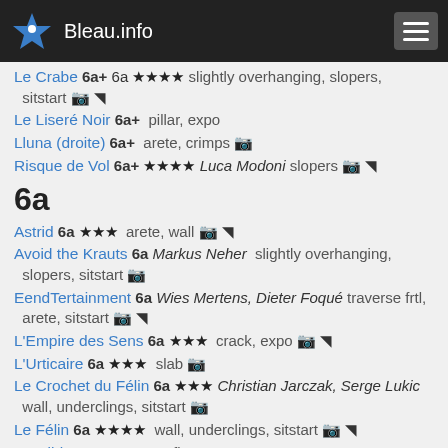Bleau.info
Le Crabe 6a+ 6a ★★★★ slightly overhanging, slopers, sitstart 📷 🎬
Le Liseré Noir 6a+ pillar, expo
Lluna (droite) 6a+ arete, crimps 📷
Risque de Vol 6a+ ★★★★ Luca Modoni slopers 📷 🎬
6a
Astrid 6a ★★★ arete, wall 📷 🎬
Avoid the Krauts 6a Markus Neher slightly overhanging, slopers, sitstart 📷
EendTertainment 6a Wies Mertens, Dieter Foqué traverse frtl, arete, sitstart 📷 🎬
L'Empire des Sens 6a ★★★ crack, expo 📷 🎬
L'Urticaire 6a ★★★ slab 📷
Le Crochet du Félin 6a ★★★ Christian Jarczak, Serge Lukic wall, underclings, sitstart 📷
Le Félin 6a ★★★★ wall, underclings, sitstart 📷 🎬
Le Gibbon 6a traverse fltr, expo
Zone d'Inconfort (debout) 6a arete, slopers 📷
5+